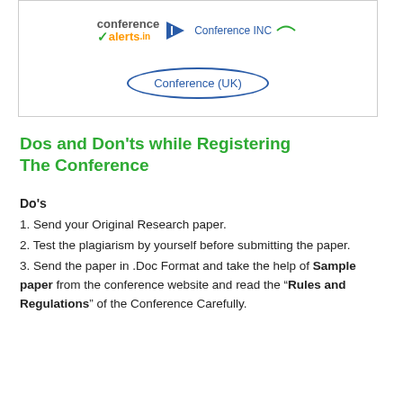[Figure (logo): Conference logos box: ConferenceAlerts.in, Conference INC, and Conference (UK) oval logo]
Dos and Don'ts while Registering The Conference
Do's
1. Send your Original Research paper.
2. Test the plagiarism by yourself before submitting the paper.
3. Send the paper in .Doc Format and take the help of Sample paper from the conference website and read the "Rules and Regulations" of the Conference Carefully.